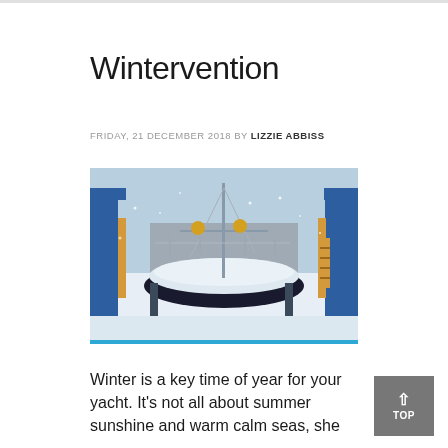Wintervention
FRIDAY, 21 DECEMBER 2018 BY LIZZIE ABBISS
[Figure (photo): A sailboat covered in snow in a marina, surrounded by dock infrastructure and blue equipment cradles in winter conditions.]
Winter is a key time of year for your yacht. It's not all about summer sunshine and warm calm seas, she